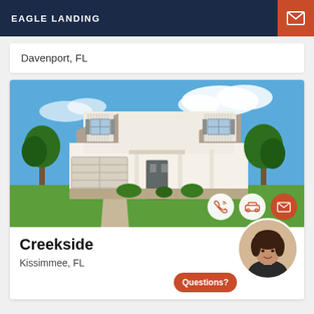EAGLE LANDING
Davenport, FL
[Figure (photo): Two-story white suburban home with two-car garage, landscaped front yard and blue sky with clouds]
Creekside
Kissimmee, FL